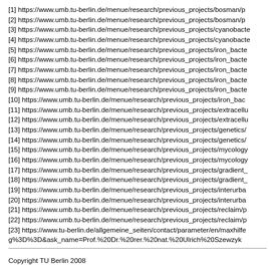[1] https://www.umb.tu-berlin.de/menue/research/previous_projects/bosman/p
[2] https://www.umb.tu-berlin.de/menue/research/previous_projects/bosman/p
[3] https://www.umb.tu-berlin.de/menue/research/previous_projects/cyanobacte
[4] https://www.umb.tu-berlin.de/menue/research/previous_projects/cyanobacte
[5] https://www.umb.tu-berlin.de/menue/research/previous_projects/iron_bacte
[6] https://www.umb.tu-berlin.de/menue/research/previous_projects/iron_bacte
[7] https://www.umb.tu-berlin.de/menue/research/previous_projects/iron_bacte
[8] https://www.umb.tu-berlin.de/menue/research/previous_projects/iron_bacte
[9] https://www.umb.tu-berlin.de/menue/research/previous_projects/iron_bacte
[10] https://www.umb.tu-berlin.de/menue/research/previous_projects/iron_bac
[11] https://www.umb.tu-berlin.de/menue/research/previous_projects/extracellu
[12] https://www.umb.tu-berlin.de/menue/research/previous_projects/extracellu
[13] https://www.umb.tu-berlin.de/menue/research/previous_projects/genetics/
[14] https://www.umb.tu-berlin.de/menue/research/previous_projects/genetics/
[15] https://www.umb.tu-berlin.de/menue/research/previous_projects/mycology
[16] https://www.umb.tu-berlin.de/menue/research/previous_projects/mycology
[17] https://www.umb.tu-berlin.de/menue/research/previous_projects/gradient_
[18] https://www.umb.tu-berlin.de/menue/research/previous_projects/gradient_
[19] https://www.umb.tu-berlin.de/menue/research/previous_projects/interurba
[20] https://www.umb.tu-berlin.de/menue/research/previous_projects/interurba
[21] https://www.umb.tu-berlin.de/menue/research/previous_projects/reclaim/p
[22] https://www.umb.tu-berlin.de/menue/research/previous_projects/reclaim/p
[23] https://www.tu-berlin.de/allgemeine_seiten/contact/parameter/en/maxhilfe g%3D%3D&ask_name=Prof.%20Dr.%20rer.%20nat.%20Ulrich%20Szewzyk
[24] https://www.tu-berlin.de/allgemeine_seiten/contact/parameter/en/maxhilfe yeySQ%3D%3D&ask_name=B%C3%A4rbel%20Minx
Copyright TU Berlin 2008